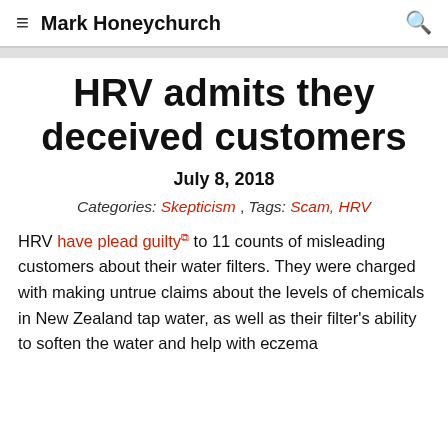≡  Mark Honeychurch  🔍
HRV admits they deceived customers
July 8, 2018
Categories: Skepticism ,  Tags: Scam, HRV
HRV have plead guilty to 11 counts of misleading customers about their water filters. They were charged with making untrue claims about the levels of chemicals in New Zealand tap water, as well as their filter's ability to soften the water and help with eczema